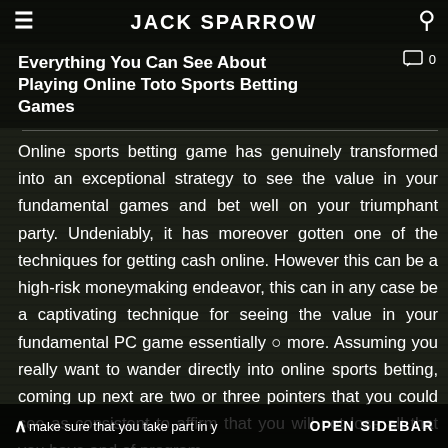JACK SPARROW
Everything You Can See About Playing Online Toto Sports Betting Games
Online sports betting game has genuinely transformed into an exceptional strategy to see the value in your fundamental games and bet well on your triumphant party. Undeniably, it has moreover gotten one of the techniques for getting cash online. However this can be a high-risk moneymaking endeavor, this can in any case be a captivating technique for seeing the value in your fundamental PC game essentially more. Assuming you really want to wander directly into online sports betting, coming up next are two or three pointers that you could see as consistent to affirm that you will not lose all that you have and of program, make sure that you take part in y
OPEN SIDEBAR